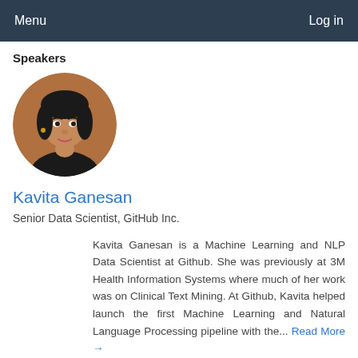Menu    Log in
Speakers
[Figure (photo): Circular profile photo of Kavita Ganesan, a woman with dark hair against a warm background]
Kavita Ganesan
Senior Data Scientist, GitHub Inc.
Kavita Ganesan is a Machine Learning and NLP Data Scientist at Github. She was previously at 3M Health Information Systems where much of her work was on Clinical Text Mining. At Github, Kavita helped launch the first Machine Learning and Natural Language Processing pipeline with the... Read More →